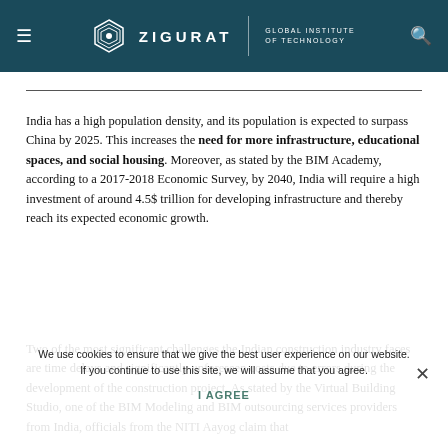ZIGURAT | GLOBAL INSTITUTE OF TECHNOLOGY
India has a high population density, and its population is expected to surpass China by 2025. This increases the need for more infrastructure, educational spaces, and social housing. Moreover, as stated by the BIM Academy, according to a 2017-2018 Economic Survey, by 2040, India will require a high investment of around 4.5$ trillion for developing infrastructure and thereby reach its expected economic growth.
Two of the most significant challenges the Indian construction industry faces are time delays and significantly unforeseen costs due to errors during the development of the construction project. As stated by the Virtual Building Studio, one of the BIM Modeling and BIM outsourcing services providers from India, officials from the NITI Aayog claim that
We use cookies to ensure that we give the best user experience on our website. If you continue to use this site, we will assume that you agree. I AGREE